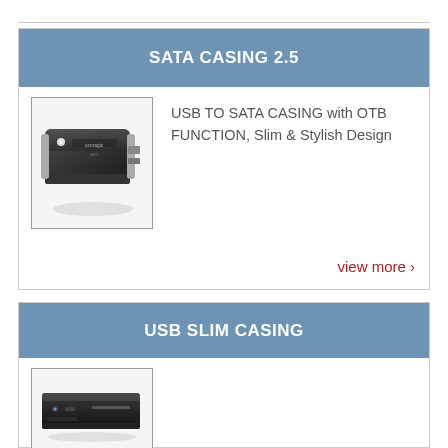SATA CASING 2.5
[Figure (photo): USB to SATA casing device - black external hard drive enclosure]
USB TO SATA CASING with OTB FUNCTION, Slim & Stylish Design
view more >
USB SLIM CASING
[Figure (photo): USB slim casing - thin black external optical drive or HDD enclosure]